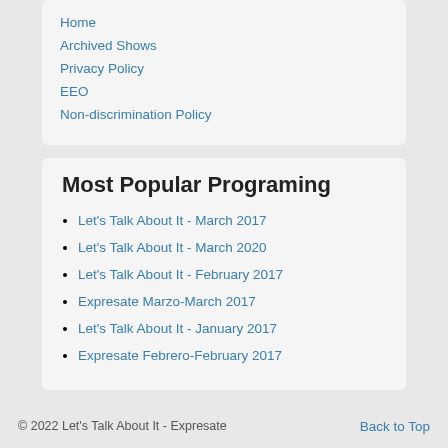Home
Archived Shows
Privacy Policy
EEO
Non-discrimination Policy
Most Popular Programing
Let's Talk About It - March 2017
Let's Talk About It - March 2020
Let's Talk About It - February 2017
Expresate Marzo-March 2017
Let's Talk About It - January 2017
Expresate Febrero-February 2017
© 2022 Let's Talk About It - Expresate    Back to Top